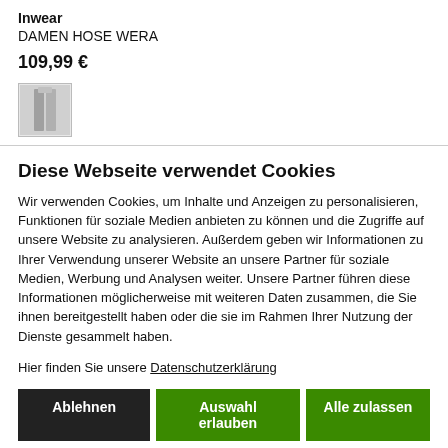Inwear
DAMEN HOSE WERA
109,99 €
[Figure (photo): Small thumbnail image of a grey trouser product]
Diese Webseite verwendet Cookies
Wir verwenden Cookies, um Inhalte und Anzeigen zu personalisieren, Funktionen für soziale Medien anbieten zu können und die Zugriffe auf unsere Website zu analysieren. Außerdem geben wir Informationen zu Ihrer Verwendung unserer Website an unsere Partner für soziale Medien, Werbung und Analysen weiter. Unsere Partner führen diese Informationen möglicherweise mit weiteren Daten zusammen, die Sie ihnen bereitgestellt haben oder die sie im Rahmen Ihrer Nutzung der Dienste gesammelt haben.
Hier finden Sie unsere Datenschutzerklärung
Ablehnen | Auswahl erlauben | Alle zulassen
Notwendig  Präferenzen  Statistiken  Marketing  Details zeigen